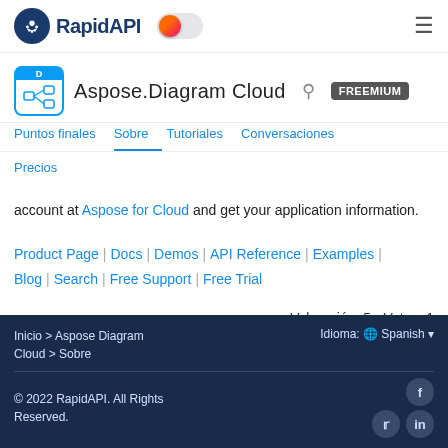[Figure (logo): RapidAPI logo with octopus icon, toggle switch with orange knob, and hamburger menu icon]
Aspose.Diagram Cloud FREEMIUM
Puntos finales | Sobre | Tutoriales | Conversaciones | Precios
account at Aspose for Cloud and get your application information.
Product Page | Docs | Demos | API Reference | Examples | Blog | Search | Free Support | Free Trial
Valoración: 5 - Votos: 1
Inicio > Aspose Diagram Cloud > Sobre   Idioma: Spanish   © 2022 RapidAPI. All Rights Reserved.